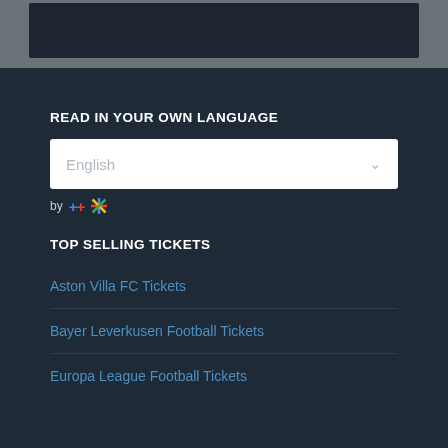[Figure (screenshot): Dark colored box/panel at the top representing a cropped image or video area]
READ IN YOUR OWN LANGUAGE
English (dropdown selector)
by [Google Translate icon]
TOP SELLING TICKETS
Aston Villa FC Tickets
Bayer Leverkusen Football Tickets
Europa League Football Tickets